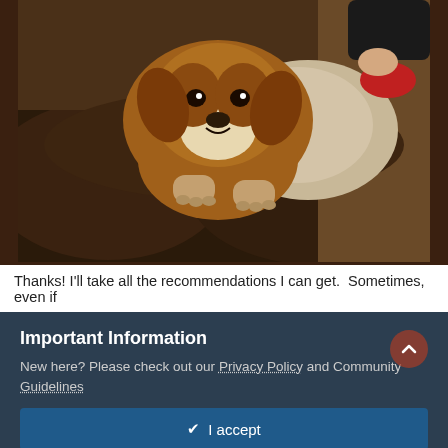[Figure (photo): A brown/tan boxer puppy lying on a dark brown couch, resting its front paws over the armrest, looking at the camera. A beige pillow is visible behind the dog. In the upper right corner, a person's hand/arm and a toy can be partially seen.]
Thanks! I'll take all the recommendations I can get.  Sometimes, even if
Important Information
New here? Please check out our Privacy Policy and Community Guidelines
✔ I accept